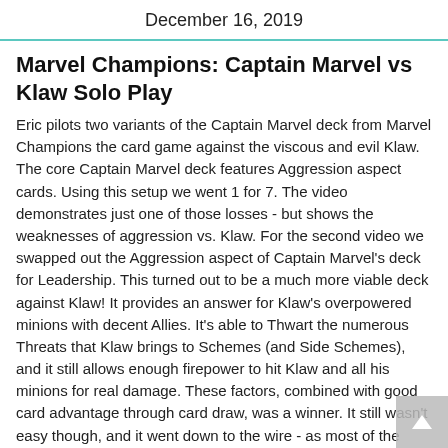December 16, 2019
Marvel Champions: Captain Marvel vs Klaw Solo Play
Eric pilots two variants of the Captain Marvel deck from Marvel Champions the card game against the viscous and evil Klaw. The core Captain Marvel deck features Aggression aspect cards. Using this setup we went 1 for 7. The video demonstrates just one of those losses - but shows the weaknesses of aggression vs. Klaw. For the second video we swapped out the Aggression aspect of Captain Marvel's deck for Leadership. This turned out to be a much more viable deck against Klaw! It provides an answer for Klaw's overpowered minions with decent Allies. It's able to Thwart the numerous Threats that Klaw brings to Schemes (and Side Schemes), and it still allows enough firepower to hit Klaw and all his minions for real damage. These factors, combined with good card advantage through card draw, was a winner. It still wasn't easy though, and it went down to the wire - as most of the games go. So, it wasn't the "good luck" lanyard after all...but decent cards that did the trick. Fancy that!
NOTE: We used the same intro section for both of these videos,